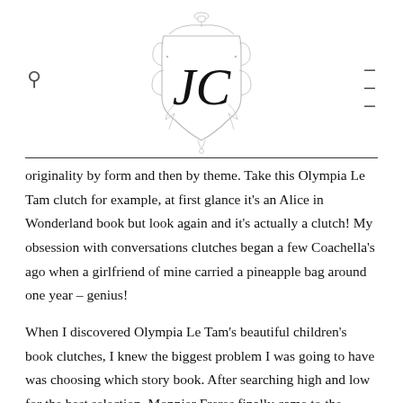JC logo with search and menu icons
originality by form and then by theme. Take this Olympia Le Tam clutch for example, at first glance it’s an Alice in Wonderland book but look again and it’s actually a clutch! My obsession with conversations clutches began a few Coachella’s ago when a girlfriend of mine carried a pineapple bag around one year – genius!
When I discovered Olympia Le Tam’s beautiful children’s book clutches, I knew the biggest problem I was going to have was choosing which story book. After searching high and low for the best selection, Monnier Freres finally came to the rescue with an array of the most